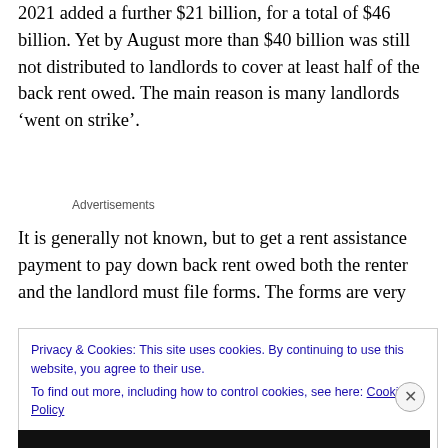2021 added a further $21 billion, for a total of $46 billion. Yet by August more than $40 billion was still not distributed to landlords to cover at least half of the back rent owed. The main reason is many landlords ‘went on strike’.
Advertisements
It is generally not known, but to get a rent assistance payment to pay down back rent owed both the renter and the landlord must file forms. The forms are very
Privacy & Cookies: This site uses cookies. By continuing to use this website, you agree to their use.
To find out more, including how to control cookies, see here: Cookie Policy
Close and accept